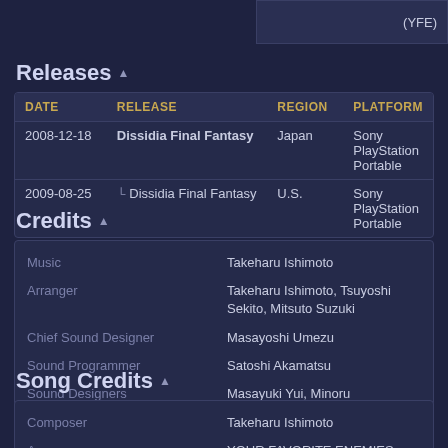Releases
| DATE | RELEASE | REGION | PLATFORM |
| --- | --- | --- | --- |
| 2008-12-18 | Dissidia Final Fantasy | Japan | Sony PlayStation Portable |
| 2009-08-25 | Dissidia Final Fantasy | U.S. | Sony PlayStation Portable |
Credits
| Role | Name |
| --- | --- |
| Music | Takeharu Ishimoto |
| Arranger | Takeharu Ishimoto, Tsuyoshi Sekito, Mitsuto Suzuki |
| Chief Sound Designer | Masayoshi Umezu |
| Sound Programmer | Satoshi Akamatsu |
| Sound Designers | Masayuki Yui, Minoru Tsuchihashi, Yosuke Nakashima, Kazuhiro Hosoe |
| Project Manager | Masashi Kitagawa |
| Project Assistants | Kazuki Hamamoto, Saeko Kanazawa |
| Special Thanks | Atsushi Onishi, Yuki Hirose, Ai Yamashita, Takashi Toki... |
Song Credits
| Role | Name |
| --- | --- |
| Composer | Takeharu Ishimoto |
| Arranger | YOUR FAVORITE ENEMIES |
| Lyricist | Alex Foster (YFE) |
| Performed by | YOUR FAVORITE ENEMIES |
| Vocals | Alex Foster, Miss Isabel |
| Guitar | Jeff Beulieu, Sef |
| Bass | Ben Lamelin |